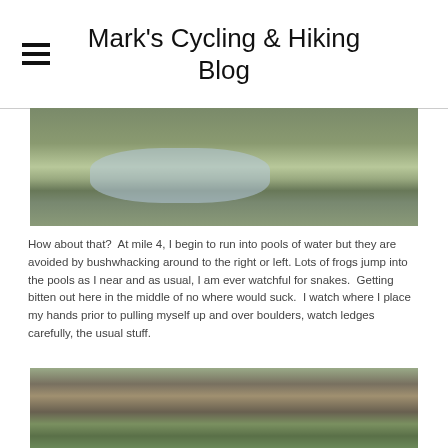Mark's Cycling & Hiking Blog
[Figure (photo): Outdoor trail photo showing pools of water surrounded by green grass and vegetation]
How about that?  At mile 4, I begin to run into pools of water but they are avoided by bushwhacking around to the right or left. Lots of frogs jump into the pools as I near and as usual, I am ever watchful for snakes.  Getting bitten out here in the middle of no where would suck.  I watch where I place my hands prior to pulling myself up and over boulders, watch ledges carefully, the usual stuff.
[Figure (photo): Outdoor photo showing rocky cliff face with green foliage in the foreground]